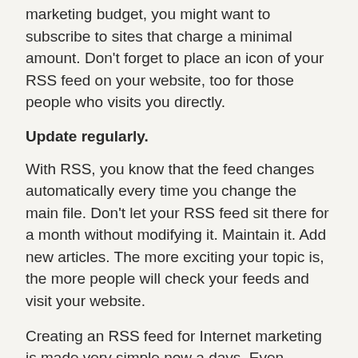marketing budget, you might want to subscribe to sites that charge a minimal amount. Don't forget to place an icon of your RSS feed on your website, too for those people who visits you directly.
Update regularly.
With RSS, you know that the feed changes automatically every time you change the main file. Don't let your RSS feed sit there for a month without modifying it. Maintain it. Add new articles. The more exciting your topic is, the more people will check your feeds and visit your website.
Creating an RSS feed for Internet marketing is made very simple now a days. Even people who are not computer savvy can create RSS feeds, based on the steps provided above. The applications that were created for RSS creation are the ones that make it easy for everyday computer users to make an RSS feed. All you need is familiarization with the process.
Start now creating RSS feeds. Give your competitor